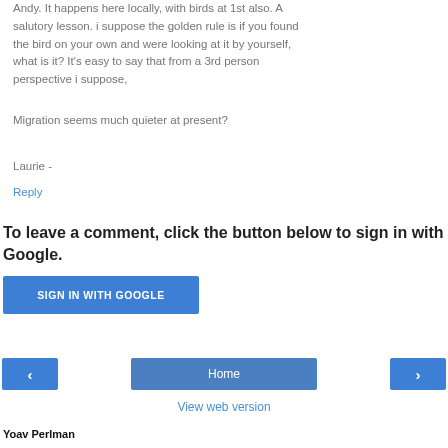Andy. It happens here locally, with birds at 1st also. A salutory lesson. i suppose the golden rule is if you found the bird on your own and were looking at it by yourself, what is it? It's easy to say that from a 3rd person perspective i suppose,
Migration seems much quieter at present?
Laurie -
Reply
To leave a comment, click the button below to sign in with Google.
[Figure (screenshot): Blue button labeled SIGN IN WITH GOOGLE]
[Figure (screenshot): Navigation bar with left arrow button, Home button, and right arrow button]
View web version
Yoav Perlman